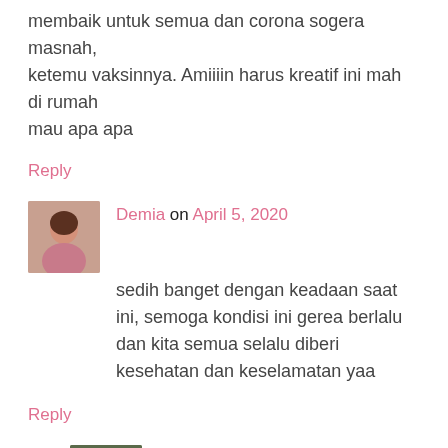membaik untuk semua dan corona sogera masnah, ketemu vaksinnya. Amiiiin harus kreatif ini mah di rumah mau apa apa
Reply
Demia on April 5, 2020
sedih banget dengan keadaan saat ini, semoga kondisi ini gerea berlalu dan kita semua selalu diberi kesehatan dan keselamatan yaa
Reply
Anggi Restiana Dewi on April 16, 2020
mencelos hati ini mbak liat efek corona, semoga semua segera membaik dan pandemic segera usai 😐
Reply
Indah Nuria on April 5, 2020